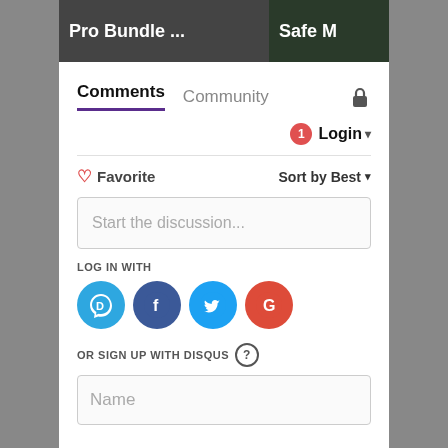[Figure (screenshot): Top banner with two product thumbnails: 'Pro Bundle ...' and 'Safe M' partially visible]
Comments  Community
Login ▾
♡ Favorite   Sort by Best ▾
Start the discussion...
LOG IN WITH
[Figure (illustration): Social login icons: Disqus (D), Facebook (F), Twitter bird, Google (G)]
OR SIGN UP WITH DISQUS ?
Name